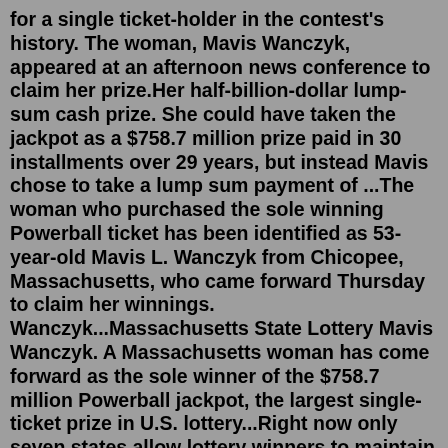for a single ticket-holder in the contest's history. The woman, Mavis Wanczyk, appeared at an afternoon news conference to claim her prize.Her half-billion-dollar lump-sum cash prize. She could have taken the jackpot as a $758.7 million prize paid in 30 installments over 29 years, but instead Mavis chose to take a lump sum payment of ...The woman who purchased the sole winning Powerball ticket has been identified as 53-year-old Mavis L. Wanczyk from Chicopee, Massachusetts, who came forward Thursday to claim her winnings. Wanczyk...Massachusetts State Lottery Mavis Wanczyk. A Massachusetts woman has come forward as the sole winner of the $758.7 million Powerball jackpot, the largest single-ticket prize in U.S. lottery...Right now only seven states allow lottery winners to maintain their anonymity: Delaware, Kansas, Maryland, North Dakota, Texas, Ohio and South Carolina. And six states also allow people to form a trust to claim prize money anonymously. ... M...